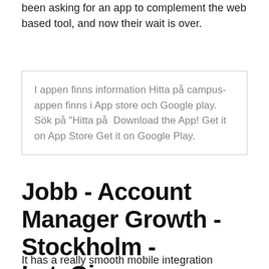been asking for an app to complement the web based tool, and now their wait is over.
I appen finns information Hitta på campus-appen finns i App store och Google play. Sök på "Hitta på  Download the App! Get it on App Store Get it on Google Play.
Jobb - Account Manager Growth - Stockholm - LetsGig
It has a really smooth mobile integration through the use of QR codes which is a killer feature in the